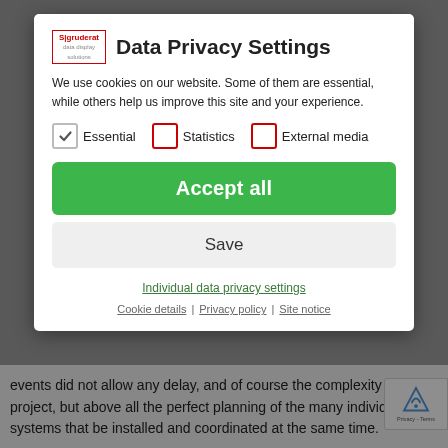[Figure (screenshot): Data Privacy Settings modal dialog overlay on a website. Contains logo, title 'Data Privacy Settings', descriptive text about cookies, checkboxes for Essential (checked), Statistics (unchecked), and External media (unchecked), an 'Accept all' green button, a 'Save' grey button, an 'Individual data privacy settings' link, and footer links for Cookie details, Privacy policy, and Site notice. Behind the modal, partially visible webpage text about LED systems is shown.]
Data Privacy Settings
We use cookies on our website. Some of them are essential, while others help us improve this site and your experience.
Essential
Statistics
External media
Accept all
Save
Individual data privacy settings
Cookie details | Privacy policy | Site notice
events did not allow any delay, and of course the complexity of the project, but above all the perfect planning of the many individual LED systems that be installed and coordinated at the same time.